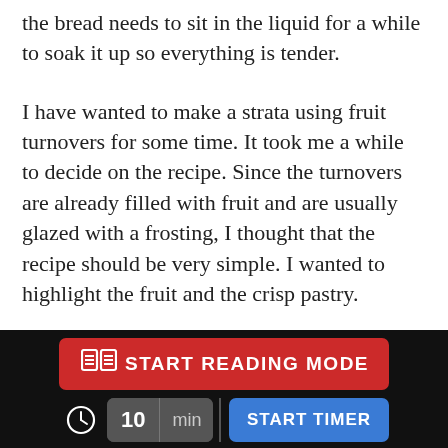the bread needs to sit in the liquid for a while to soak it up so everything is tender.
I have wanted to make a strata using fruit turnovers for some time. It took me a while to decide on the recipe. Since the turnovers are already filled with fruit and are usually glazed with a frosting, I thought that the recipe should be very simple. I wanted to highlight the fruit and the crisp pastry.
You can make this recipe with any type of turnover you'd like. Bake some frozen turnovers and use them, or buy them from a bakery or a grocery store. You
[Figure (screenshot): Bottom navigation bar on black background with a red 'START READING MODE' button (with a book icon) and a timer row showing a clock icon, '10 min' input, and a blue 'START TIMER' button.]